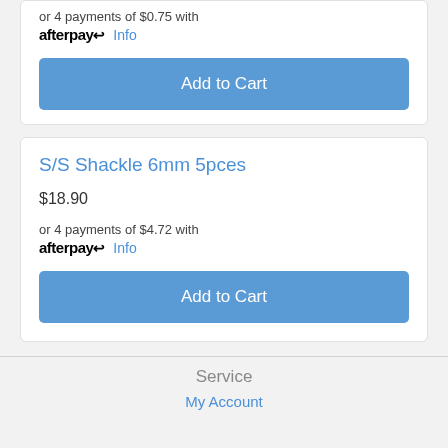or 4 payments of $0.75 with afterpay Info
Add to Cart
S/S Shackle 6mm 5pces
$18.90
or 4 payments of $4.72 with afterpay Info
Add to Cart
Service
My Account